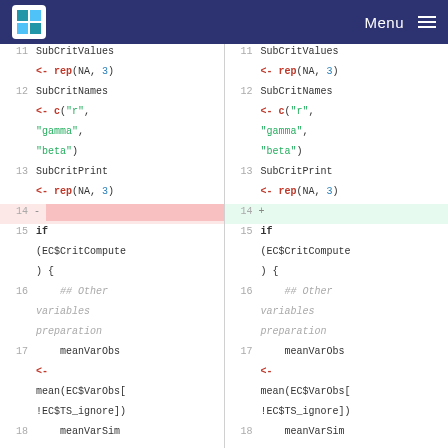Menu (navigation bar with logo)
[Figure (screenshot): Code diff view showing two side-by-side panes of R code. Lines 11-18 are shown. Line 11: SubCritValues <- rep(NA, 3). Line 12: SubCritNames <- c('r', 'gamma', 'beta'). Line 13: SubCritPrint <- rep(NA, 3). Line 14 is a diff line (deletion on left, addition on right). Line 15: if (EC$CritCompute) {. Line 16: ## Other variables preparation. Line 17: meanVarObs <- mean(EC$VarObs[!EC$TS_ignore]). Line 18: meanVarSim.]